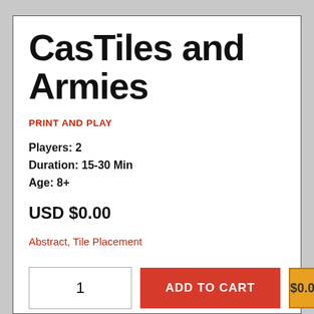CasTiles and Armies
PRINT AND PLAY
Players: 2
Duration: 15-30 Min
Age: 8+
USD $0.00
Abstract, Tile Placement
1
ADD TO CART
$0.00